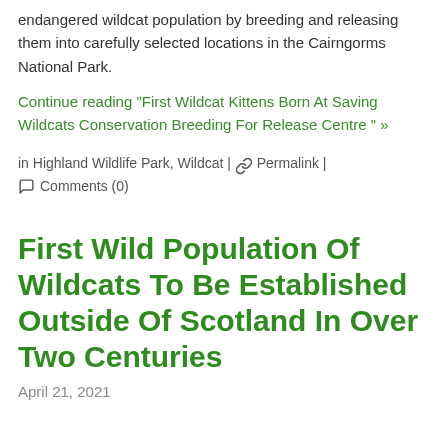endangered wildcat population by breeding and releasing them into carefully selected locations in the Cairngorms National Park.
Continue reading "First Wildcat Kittens Born At Saving Wildcats Conservation Breeding For Release Centre " »
in Highland Wildlife Park, Wildcat | 🔗 Permalink | 💬 Comments (0)
First Wild Population Of Wildcats To Be Established Outside Of Scotland In Over Two Centuries
April 21, 2021